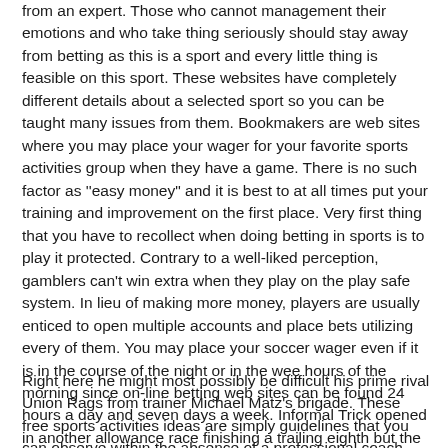from an expert. Those who cannot management their emotions and who take thing seriously should stay away from betting as this is a sport and every little thing is feasible on this sport. These websites have completely different details about a selected sport so you can be taught many issues from them. Bookmakers are web sites where you may place your wager for your favorite sports activities group when they have a game. There is no such factor as ''easy money" and it is best to at all times put your training and improvement on the first place. Very first thing that you have to recollect when doing betting in sports is to play it protected. Contrary to a well-liked perception, gamblers can't win extra when they play on the play safe system. In lieu of making more money, players are usually enticed to open multiple accounts and place bets utilizing every of them. You may place your soccer wager even if it is in the course of the night or in the wee hours of the morning since on-line betting web sites can be found 24 hours a day and seven days a week. Informal Trick opened in another allowance race finishing a trailing eighth but the Bernardini colt may be up for the Fountain of Youth Stakes with some unbelievable step up in place by coach Nick Zito.
Right here he might most possibly be difficult his prime rival Union Rags from trainer Michael Matz's brigade. These free sports activities ideas are simply guidelines that you can observe within the absence of a professional coach. The excellent news is that you'll find on-line sports